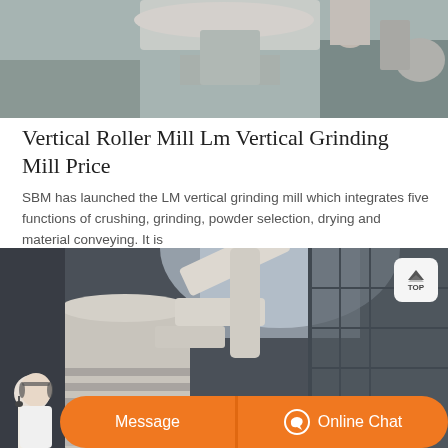[Figure (photo): Top photo showing industrial grinding mill machinery from above, in a factory setting]
Vertical Roller Mill Lm Vertical Grinding Mill Price
SBM has launched the LM vertical grinding mill which integrates five functions of crushing, grinding, powder selection, drying and material conveying. It is
[Figure (photo): Large vertical roller mill machine photographed in an industrial building, showing tall cylindrical mill structure with arms and dust collector]
Message
Online Chat